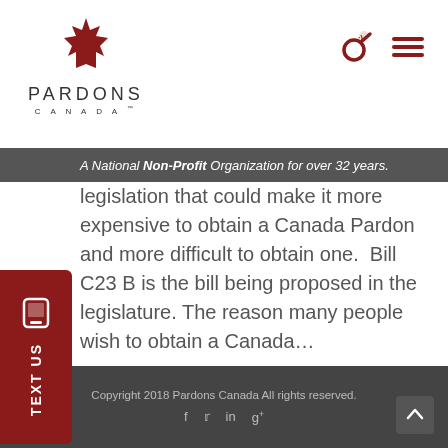[Figure (logo): Pardons Canada logo with red maple leaf and text 'PARDONS CANADA']
A National Non-Profit Organization for over 32 years.
legislation that could make it more expensive to obtain a Canada Pardon and more difficult to obtain one.  Bill C23 B is the bill being proposed in the legislature. The reason many people wish to obtain a Canada…
[Figure (other): TEXT US red sidebar button]
← 1 2 3 4 5 6 →
Copyright 2018 Pardons Canada All rights reserved.
f  in  g+